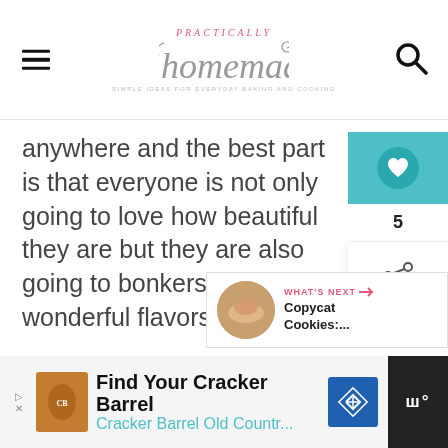Practically Homemade
anywhere and the best part is that everyone is not only going to love how beautiful they are but they are also going to bonkers for the wonderful flavors.
[Figure (infographic): Heart/save button with teal background and circular heart icon, count of 5, and share button below]
[Figure (infographic): What's Next panel showing Copycat Cookies... with thumbnail image]
[Figure (infographic): Advertisement bar: Find Your Cracker Barrel / Cracker Barrel Old Countr...]